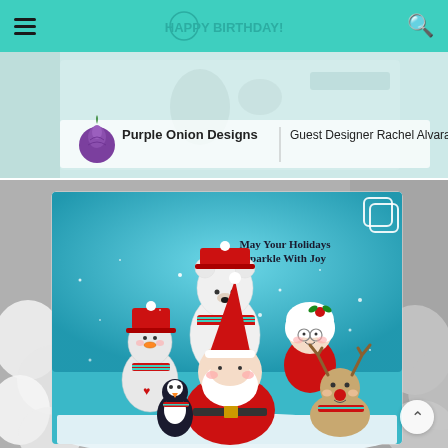[Figure (screenshot): Website header navigation bar with teal/turquoise background, hamburger menu icon on left, decorative stamp art in center area, and search icon on right]
[Figure (photo): Banner image showing Purple Onion Designs logo (purple onion icon) with text 'Purple Onion Designs' and 'Guest Designer Rachel Alvarado', with blurred background showing birthday stamp artwork]
[Figure (photo): Christmas holiday card photo showing a handmade card with illustrated characters: a snowman, polar bear, Mrs. Claus, Santa Claus, a penguin, and a reindeer, with text 'May Your Holidays Sparkle With Joy'. Background shows white flowers (hydrangeas) and blurred gray backdrop. Instagram-style copy icon visible in top right corner.]